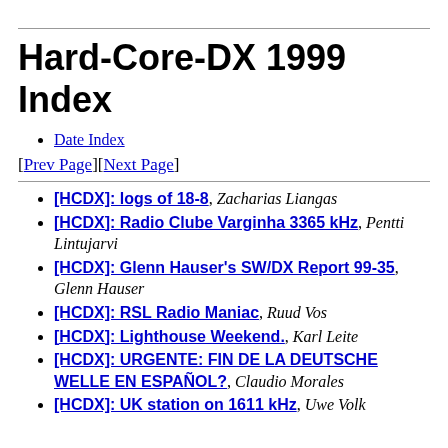Hard-Core-DX 1999 Index
Date Index
[Prev Page][Next Page]
[HCDX]: logs of 18-8, Zacharias Liangas
[HCDX]: Radio Clube Varginha 3365 kHz, Pentti Lintujarvi
[HCDX]: Glenn Hauser's SW/DX Report 99-35, Glenn Hauser
[HCDX]: RSL Radio Maniac, Ruud Vos
[HCDX]: Lighthouse Weekend., Karl Leite
[HCDX]: URGENTE: FIN DE LA DEUTSCHE WELLE EN ESPAÑOL?, Claudio Morales
[HCDX]: UK station on 1611 kHz, Uwe Volk